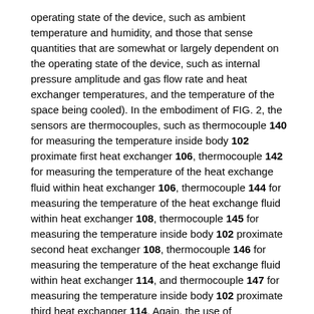operating state of the device, such as ambient temperature and humidity, and those that sense quantities that are somewhat or largely dependent on the operating state of the device, such as internal pressure amplitude and gas flow rate and heat exchanger temperatures, and the temperature of the space being cooled). In the embodiment of FIG. 2, the sensors are thermocouples, such as thermocouple 140 for measuring the temperature inside body 102 proximate first heat exchanger 106, thermocouple 142 for measuring the temperature of the heat exchange fluid within heat exchanger 106, thermocouple 144 for measuring the temperature of the heat exchange fluid within heat exchanger 108, thermocouple 145 for measuring the temperature inside body 102 proximate second heat exchanger 108, thermocouple 146 for measuring the temperature of the heat exchange fluid within heat exchanger 114, and thermocouple 147 for measuring the temperature inside body 102 proximate third heat exchanger 114. Again, the use of thermocouples for as temperature sensors is only illustrative; any type temperature sensor may be utilized.
A temperature sensor 148 such as a thermometer or